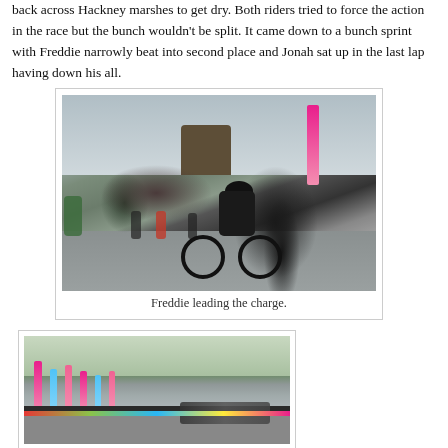back across Hackney marshes to get dry. Both riders tried to force the action in the race but the bunch wouldn't be split. It came down to a bunch sprint with Freddie narrowly beat into second place and Jonah sat up in the last lap having down his all.
[Figure (photo): Cyclist in black kit leading a race on a wet road circuit, with other riders visible behind. Pink banner and a building visible in background.]
Freddie leading the charge.
[Figure (photo): Wide shot of cycling race with colourful tall banners lining the course and a peloton of riders visible in the background.]